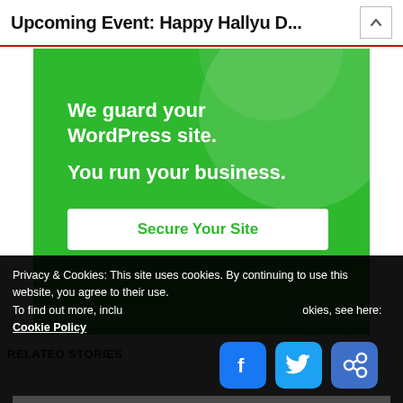Upcoming Event: Happy Hallyu D...
[Figure (illustration): Green advertisement banner: 'We guard your WordPress site. You run your business.' with a 'Secure Your Site' button]
REPORT THIS AD
RELATED STORIES
Privacy & Cookies: This site uses cookies. By continuing to use this website, you agree to their use.
To find out more, including how to control cookies, see here: Cookie Policy
Close and accept